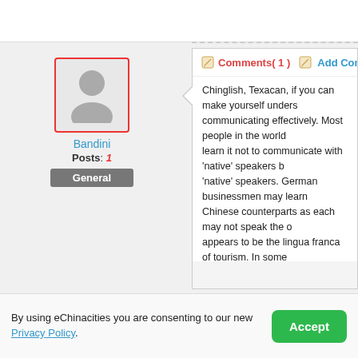[Figure (screenshot): User avatar placeholder with red border showing silhouette icon]
Bandini
Posts: 1
General
Comments( 1 )   Add Comment
Chinglish, Texacan, if you can make yourself understood, you are communicating effectively. Most people in the world who speak English learn it not to communicate with 'native' speakers but with other non-'native' speakers. German businessmen may learn English to talk to their Chinese counterparts as each may not speak the other's language. English appears to be the lingua franca of tourism. In some conflicts, opposing factions may know one another 's local dialect but refuse to speak the 'other's' language but instead use 'English'. In England there are multitudes of different accents and beautiful they are too, defining where people come from. Less so in Australia and the USA. Scottish, Indian English and many more such as the spoken language of Australia define who these people are. They have taken 'English' and created their own version that is tied up with culture. If all (Chinglish etc) can be understood, celebrate diversi
By using eChinacities you are consenting to our new Privacy Policy.
Accept